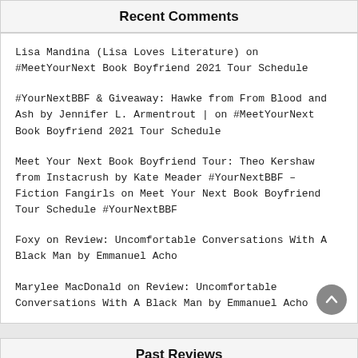Recent Comments
Lisa Mandina (Lisa Loves Literature) on #MeetYourNext Book Boyfriend 2021 Tour Schedule
#YourNextBBF & Giveaway: Hawke from From Blood and Ash by Jennifer L. Armentrout | on #MeetYourNext Book Boyfriend 2021 Tour Schedule
Meet Your Next Book Boyfriend Tour: Theo Kershaw from Instacrush by Kate Meader #YourNextBBF – Fiction Fangirls on Meet Your Next Book Boyfriend Tour Schedule #YourNextBBF
Foxy on Review: Uncomfortable Conversations With A Black Man by Emmanuel Acho
Marylee MacDonald on Review: Uncomfortable Conversations With A Black Man by Emmanuel Acho
Past Reviews
Select Month